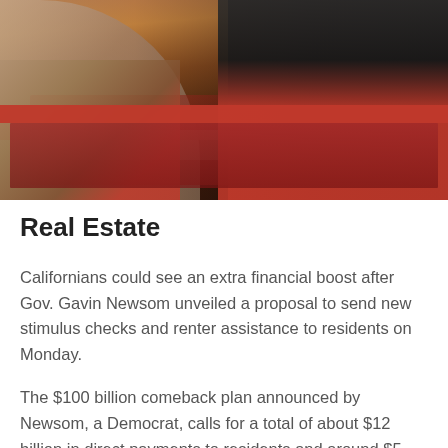[Figure (photo): A bartender in red pants working behind a bar counter lined with bottles and glasses; another person visible on the left side of the frame]
Real Estate
Californians could see an extra financial boost after Gov. Gavin Newsom unveiled a proposal to send new stimulus checks and renter assistance to residents on Monday.
The $100 billion comeback plan announced by Newsom, a Democrat, calls for a total of about $12 billion in direct payments to residents and around $5 billion in renter